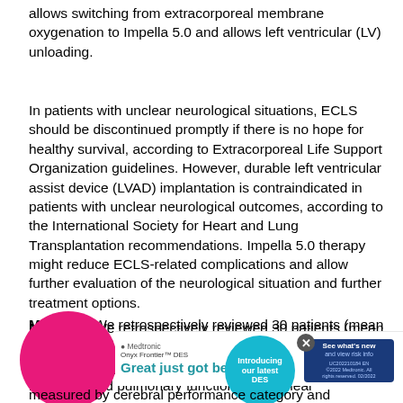allows switching from extracorporeal membrane oxygenation to Impella 5.0 and allows left ventricular (LV) unloading.
In patients with unclear neurological situations, ECLS should be discontinued promptly if there is no hope for healthy survival, according to Extracorporeal Life Support Organization guidelines. However, durable left ventricular assist device (LVAD) implantation is contraindicated in patients with unclear neurological outcomes, according to the International Society for Heart and Lung Transplantation recommendations. Impella 5.0 therapy might reduce ECLS-related complications and allow further evaluation of the neurological situation and further treatment options.
Methods: We retrospectively reviewed 30 patients (mean age 56.5 ± 10.7 years) who were in need of ECLS and underwent Impella 5.0 implantation after recovery of the right ventricular and pulmonary function with unclear neurological outcomes only. Survival to discharge at 20... measured by cerebral performance category and modified